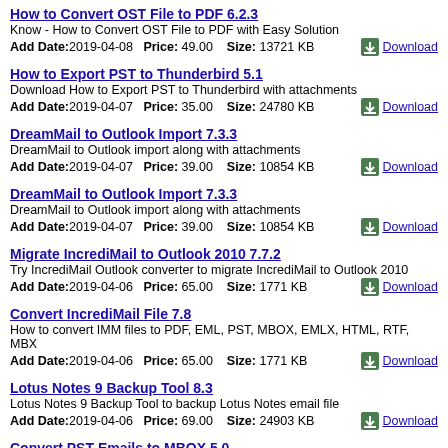How to Convert OST File to PDF 6.2.3
Know - How to Convert OST File to PDF with Easy Solution
Add Date:2019-04-08  Price: 49.00  Size: 13721 KB  Download
How to Export PST to Thunderbird 5.1
Download How to Export PST to Thunderbird with attachments
Add Date:2019-04-07  Price: 35.00  Size: 24780 KB  Download
DreamMail to Outlook Import 7.3.3
DreamMail to Outlook import along with attachments
Add Date:2019-04-07  Price: 39.00  Size: 10854 KB  Download
DreamMail to Outlook Import 7.3.3
DreamMail to Outlook import along with attachments
Add Date:2019-04-07  Price: 39.00  Size: 10854 KB  Download
Migrate IncrediMail to Outlook 2010 7.7.2
Try IncrediMail Outlook converter to migrate IncrediMail to Outlook 2010
Add Date:2019-04-06  Price: 65.00  Size: 1771 KB  Download
Convert IncrediMail File 7.8
How to convert IMM files to PDF, EML, PST, MBOX, EMLX, HTML, RTF, MBX
Add Date:2019-04-06  Price: 65.00  Size: 1771 KB  Download
Lotus Notes 9 Backup Tool 8.3
Lotus Notes 9 Backup Tool to backup Lotus Notes email file
Add Date:2019-04-06  Price: 69.00  Size: 24903 KB  Download
Convert PST Emails to MBOX 5.0
Convert PST Emails to MBOX without any alteration or error